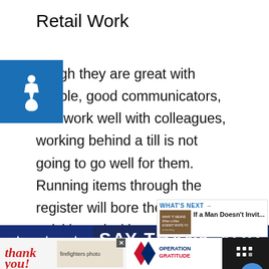Retail Work
though they are great with people, good communicators, and work well with colleagues, working behind a till is not going to go well for them. Running items through the register will bore them very quickly and without the opportunity to make creative changes to the store and analyze the results they will not stick the role for long.
[Figure (other): Advertisement banner: SAY THANK YOU TO DEPLOYED with stars on dark blue background]
[Figure (other): Bottom advertisement bar: Thank you with Operation Gratitude branding]